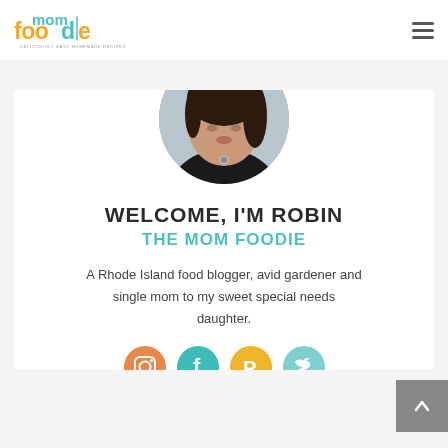mom foodie — DELICIOUSLY EASY HOMEMADE RECIPES
[Figure (photo): Circular profile photo of Robin, a woman with dark hair wearing a black top and a necklace, photographed against a light gray background.]
WELCOME, I'M ROBIN
THE MOM FOODIE
A Rhode Island food blogger, avid gardener and single mom to my sweet special needs daughter.
[Figure (infographic): Four circular social media icons in a row: Instagram (orange), Facebook (teal), Pinterest (yellow/gold), Twitter (light teal).]